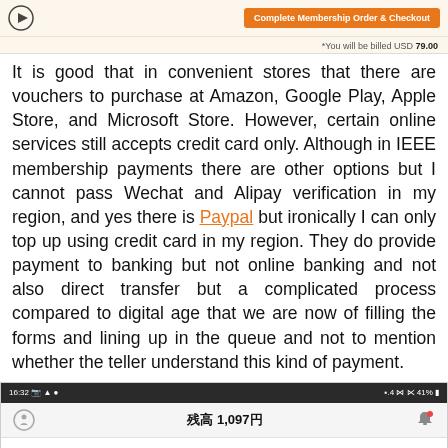[Figure (screenshot): Top bar with play button and orange 'Complete Membership Order & Checkout' button]
*You will be billed USD 79.00
It is good that in convenient stores that there are vouchers to purchase at Amazon, Google Play, Apple Store, and Microsoft Store. However, certain online services still accepts credit card only. Although in IEEE membership payments there are other options but I cannot pass Wechat and Alipay verification in my region, and yes there is Paypal but ironically I can only top up using credit card in my region. They do provide payment to banking but not online banking and not also direct transfer but a complicated process compared to digital age that we are now of filling the forms and lining up in the queue and not to mention whether the teller understand this kind of payment.
[Figure (screenshot): Mobile app screenshot showing a payment method selection screen with balance of 1,097 yen, convenience store option (Famiport, Loppi, ClubStation), and credit card option]